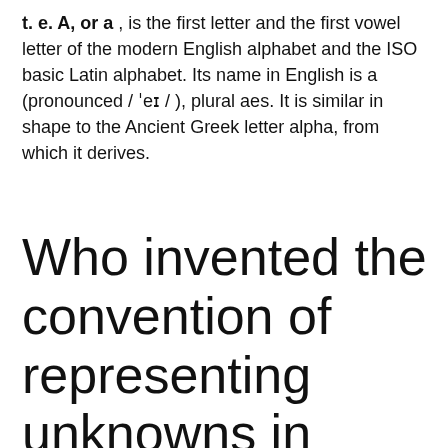t. e. A, or a , is the first letter and the first vowel letter of the modern English alphabet and the ISO basic Latin alphabet. Its name in English is a (pronounced / ˈeɪ / ), plural aes. It is similar in shape to the Ancient Greek letter alpha, from which it derives.
Who invented the convention of representing unknowns in equations by x, y,